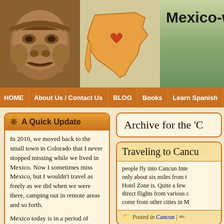[Figure (screenshot): Mexico-with-Heart website header with Olmec face statue on left, orange Mexico map with heart in center, and scenic landscape photo on right with site title 'Mexico-with-Heart']
Mexico-with-Heart
HOME
About Us / Contact Us
BLOG
Books
Learn Spanish
A Quick Update
In 2010, we moved back to the small town in Colorado that I never stopped missing while we lived in Mexico. Now I sometimes miss Mexico, but I wouldn't travel as freely as we did when we were there, camping out in remote areas and so forth.
Mexico today is in a period of change, and in many ways it is more dangerous now. That said, I have plenty of American friends who still live there very happily, just
Archive for the 'C
Traveling to Cancu
people fly into Cancun Inte only about six miles from t Hotel Zone is. Quite a few direct flights from various c come from other cities in M
Posted in Cancun |